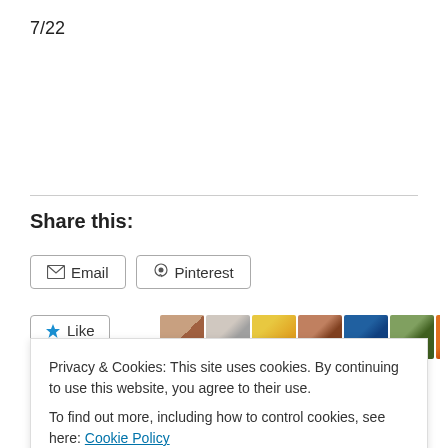7/22
Share this:
Email  Pinterest
Like  80 bloggers like this.
Privacy & Cookies: This site uses cookies. By continuing to use this website, you agree to their use.
To find out more, including how to control cookies, see here: Cookie Policy
Close and accept